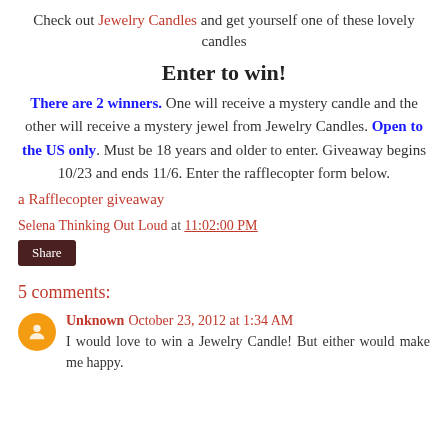Check out Jewelry Candles and get yourself one of these lovely candles
Enter to win!
There are 2 winners. One will receive a mystery candle and the other will receive a mystery jewel from Jewelry Candles. Open to the US only. Must be 18 years and older to enter. Giveaway begins 10/23 and ends 11/6. Enter the rafflecopter form below.
a Rafflecopter giveaway
Selena Thinking Out Loud at 11:02:00 PM
Share
5 comments:
Unknown October 23, 2012 at 1:34 AM
I would love to win a Jewelry Candle! But either would make me happy.